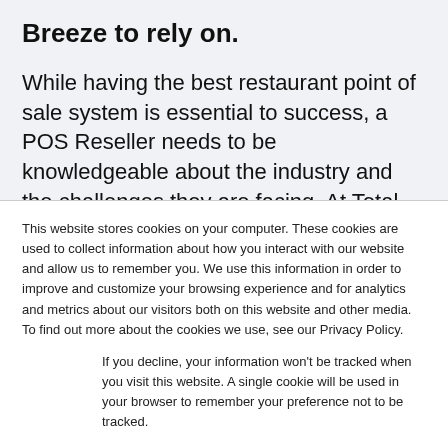Breeze to rely on.
While having the best restaurant point of sale system is essential to success, a POS Reseller needs to be knowledgeable about the industry and the challenges they are facing. At Total
This website stores cookies on your computer. These cookies are used to collect information about how you interact with our website and allow us to remember you. We use this information in order to improve and customize your browsing experience and for analytics and metrics about our visitors both on this website and other media. To find out more about the cookies we use, see our Privacy Policy.
If you decline, your information won't be tracked when you visit this website. A single cookie will be used in your browser to remember your preference not to be tracked.